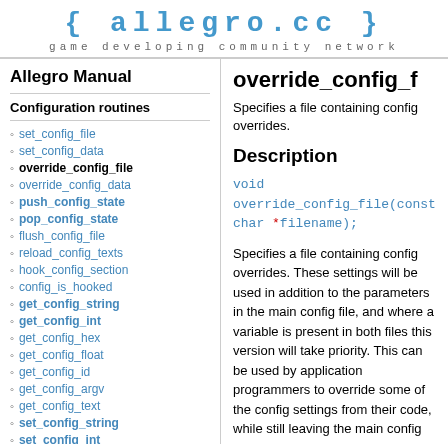{ allegro.cc }
game developing community network
Allegro Manual
Configuration routines
set_config_file
set_config_data
override_config_file
override_config_data
push_config_state
pop_config_state
flush_config_file
reload_config_texts
hook_config_section
config_is_hooked
get_config_string
get_config_int
get_config_hex
get_config_float
get_config_id
get_config_argv
get_config_text
set_config_string
set_config_int
override_config_f
Specifies a file containing config overrides.
Description
void override_config_file(const char *filename);
Specifies a file containing config overrides. These settings will be used in addition to the parameters in the main config file, and where a variable is present in both files this version will take priority. This can be used by application programmers to override some of the config settings from their code, while still leaving the main config file free for the end user to customise. For example, you